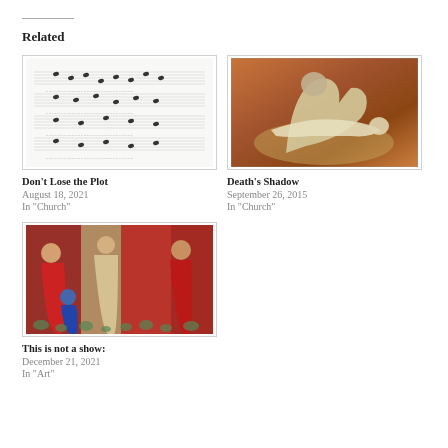Related
[Figure (illustration): Sheet music / hymn score with multiple staves and lyrics]
Don't Lose the Plot
August 18, 2021
In "Church"
[Figure (photo): Michelangelo's Pieta sculpture - Mary holding Jesus]
Death's Shadow
September 26, 2015
In "Church"
[Figure (illustration): Medieval tapestry or painting depicting the Adoration of the Magi with figures in red and blue robes]
This is not a show:
December 21, 2021
In "Art"